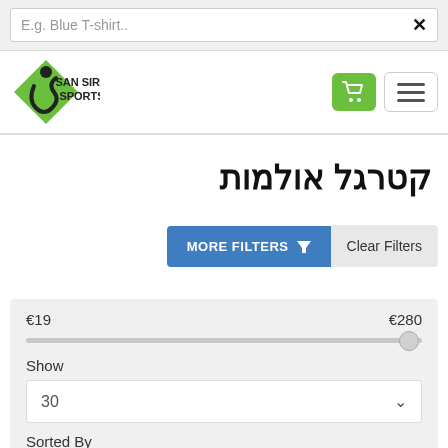E.g. Blue T-shirt..
[Figure (logo): San Siro Sports logo with green diamond shape and athletic figure, shopping cart icon, hamburger menu icon]
קטרגל אולמות
MORE FILTERS
Clear Filters
€19
€280
Show
30
Sorted By